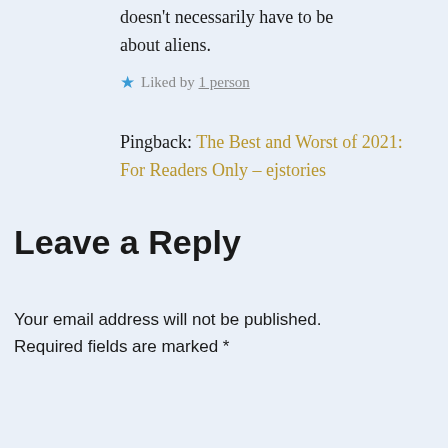doesn't necessarily have to be about aliens.
Liked by 1 person
Pingback: The Best and Worst of 2021: For Readers Only – ejstories
Leave a Reply
Your email address will not be published. Required fields are marked *